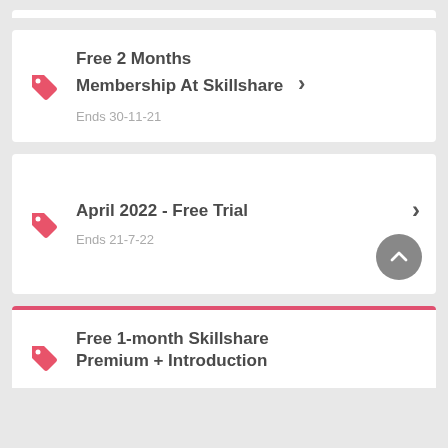Free 2 Months Membership At Skillshare
Ends 30-11-21
April 2022 - Free Trial
Ends 21-7-22
Free 1-month Skillshare Premium + Introduction